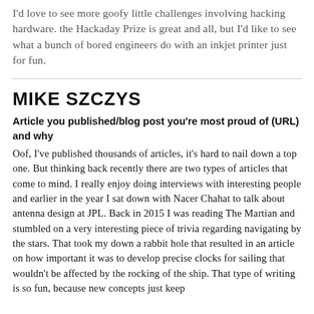I'd love to see more goofy little challenges involving hacking hardware. the Hackaday Prize is great and all, but I'd like to see what a bunch of bored engineers do with an inkjet printer just for fun.
MIKE SZCZYS
Article you published/blog post you're most proud of (URL) and why
Oof, I've published thousands of articles, it's hard to nail down a top one. But thinking back recently there are two types of articles that come to mind. I really enjoy doing interviews with interesting people and earlier in the year I sat down with Nacer Chahat to talk about antenna design at JPL. Back in 2015 I was reading The Martian and stumbled on a very interesting piece of trivia regarding navigating by the stars. That took my down a rabbit hole that resulted in an article on how important it was to develop precise clocks for sailing that wouldn't be affected by the rocking of the ship. That type of writing is so fun, because new concepts just keep